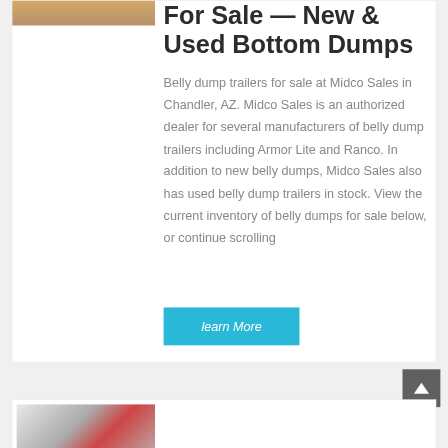[Figure (photo): Partial thumbnail of a truck/trailer, top-left corner]
For Sale — New & Used Bottom Dumps
Belly dump trailers for sale at Midco Sales in Chandler, AZ. Midco Sales is an authorized dealer for several manufacturers of belly dump trailers including Armor Lite and Ranco. In addition to new belly dumps, Midco Sales also has used belly dump trailers in stock. View the current inventory of belly dumps for sale below, or continue scrolling
learn More
[Figure (photo): Thumbnail of a red truck/trailer at bottom of page]